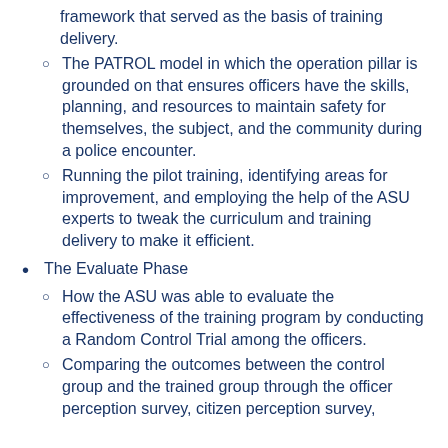framework that served as the basis of training delivery.
The PATROL model in which the operation pillar is grounded on that ensures officers have the skills, planning, and resources to maintain safety for themselves, the subject, and the community during a police encounter.
Running the pilot training, identifying areas for improvement, and employing the help of the ASU experts to tweak the curriculum and training delivery to make it efficient.
The Evaluate Phase
How the ASU was able to evaluate the effectiveness of the training program by conducting a Random Control Trial among the officers.
Comparing the outcomes between the control group and the trained group through the officer perception survey, citizen perception survey,